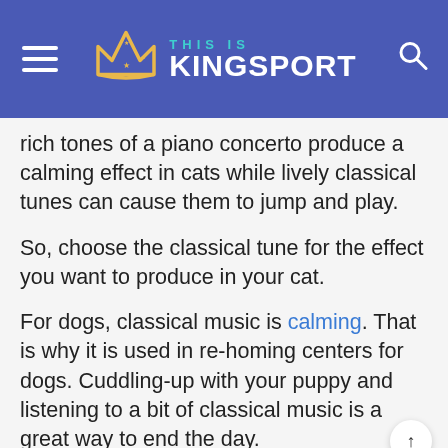THIS IS KINGSPORT
rich tones of a piano concerto produce a calming effect in cats while lively classical tunes can cause them to jump and play.
So, choose the classical tune for the effect you want to produce in your cat.
For dogs, classical music is calming. That is why it is used in re-homing centers for dogs. Cuddling-up with your puppy and listening to a bit of classical music is a great way to end the day.
Stumped on where to find the right classical music for your pet? Search your music...